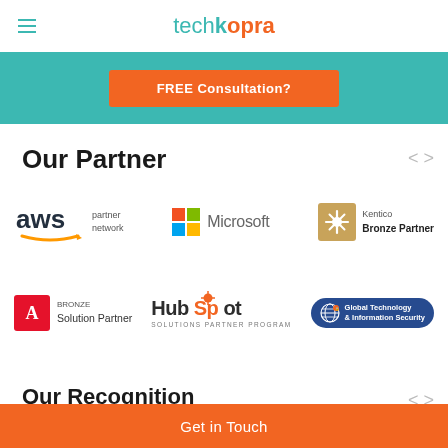techkopra
[Figure (logo): FREE Consultation? button on teal background]
Our Partner
[Figure (logo): AWS Partner Network logo]
[Figure (logo): Microsoft logo]
[Figure (logo): Kentico Bronze Partner logo]
[Figure (logo): Adobe Bronze Solution Partner logo]
[Figure (logo): HubSpot Solutions Partner Program logo]
[Figure (logo): Global Technology & Information Security badge]
Our Recognition
Get in Touch